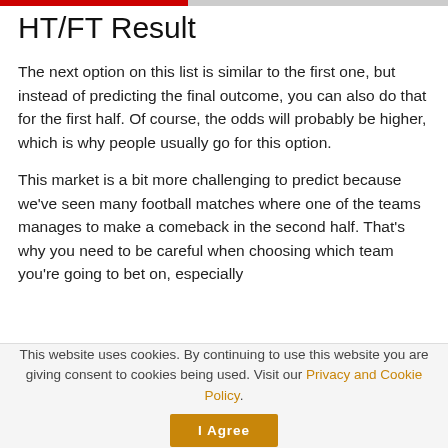HT/FT Result
The next option on this list is similar to the first one, but instead of predicting the final outcome, you can also do that for the first half. Of course, the odds will probably be higher, which is why people usually go for this option.
This market is a bit more challenging to predict because we've seen many football matches where one of the teams manages to make a comeback in the second half. That's why you need to be careful when choosing which team you're going to bet on, especially
This website uses cookies. By continuing to use this website you are giving consent to cookies being used. Visit our Privacy and Cookie Policy.